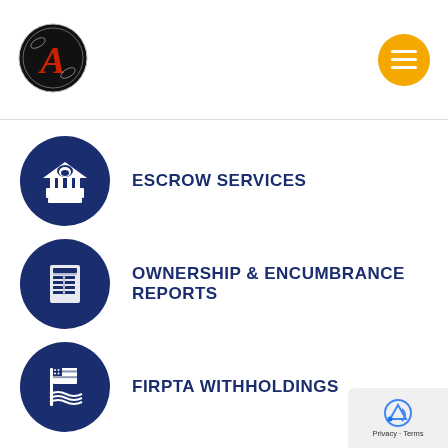[Figure (logo): Decorative letter A logo with ornate styling in black and red, circular]
[Figure (other): Orange circular hamburger menu button with three white horizontal lines]
ESCROW SERVICES
OWNERSHIP & ENCUMBRANCE REPORTS
FIRPTA WITHHOLDINGS
[Figure (other): Google reCAPTCHA privacy badge with blue icon, Privacy and Terms links]